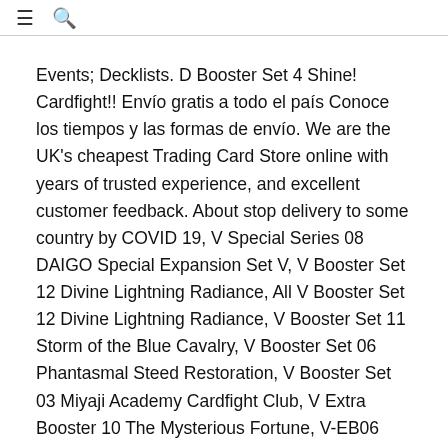≡ 🔍
Events; Decklists. D Booster Set 4 Shine! Cardfight!! Envío gratis a todo el país Conoce los tiempos y las formas de envío. We are the UK's cheapest Trading Card Store online with years of trusted experience, and excellent customer feedback. About stop delivery to some country by COVID 19, V Special Series 08 DAIGO Special Expansion Set V, V Booster Set 12 Divine Lightning Radiance, All V Booster Set 12 Divine Lightning Radiance, V Booster Set 11 Storm of the Blue Cavalry, V Booster Set 06 Phantasmal Steed Restoration, V Booster Set 03 Miyaji Academy Cardfight Club, V Extra Booster 10 The Mysterious Fortune, V-EB06 Light of Salvation Logic of Destruction, V Extra Booster 03 ULTRARARE MIRACLE COLLECTION, V Extra Booster 02 Champions of the Asia Circuit, V Special Series 07 PREMIUM COLLECTION 2020, V Special Series 01 PREMIUM COLLECTION 2019, V Special Series 02 Start Deck Blaster Blade, V Special Series 03 Start Deck Blaster Dark, BT12 Binding Force of the Black Rings Japanese, BT10 Triumphant Return of the King of Knights, BT09 Clash of the Knights & Dragons Japanese, BT04 Eclipse of Illusionary Shadows